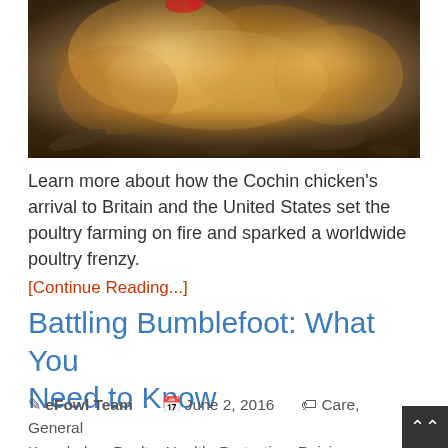[Figure (photo): Close-up photo of a fluffy golden/orange Cochin chicken resting on leaves]
Learn more about how the Cochin chicken's arrival to Britain and the United States set the poultry farming on fire and sparked a worldwide poultry frenzy.
[Continue Reading...]
Battling Bumblefoot: What You Need to Know
eFowl Team  June 2, 2016  Care, General Knowledge, Poultry Health, Protection, Raising Chickens  2 Comments